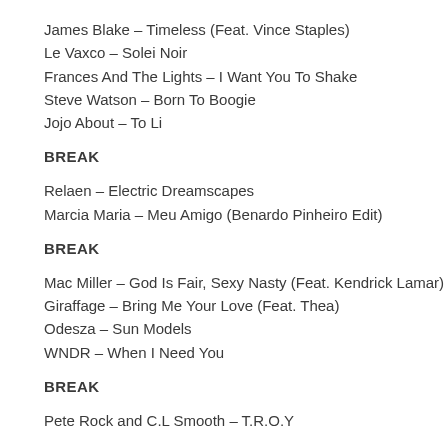James Blake – Timeless (Feat. Vince Staples)
Le Vaxco – Solei Noir
Frances And The Lights – I Want You To Shake
Steve Watson – Born To Boogie
Jojo About – To Li
BREAK
Relaen – Electric Dreamscapes
Marcia Maria – Meu Amigo (Benardo Pinheiro Edit)
BREAK
Mac Miller – God Is Fair, Sexy Nasty (Feat. Kendrick Lamar)
Giraffage – Bring Me Your Love (Feat. Thea)
Odesza – Sun Models
WNDR – When I Need You
BREAK
Pete Rock and C.L Smooth – T.R.O.Y